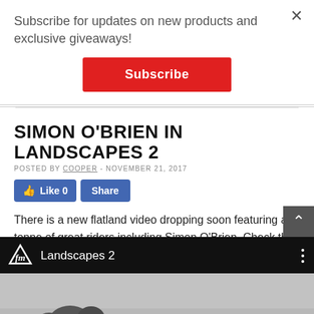Subscribe for updates on new products and exclusive giveaways!
Subscribe
SIMON O'BRIEN IN LANDSCAPES 2
POSTED BY COOPER - NOVEMBER 21, 2017
Like 0   Share
There is a new flatland video dropping soon featuring a tonne of great riders including Simon O'Brien. Check the trailer below and our entire range of flatland parts here.
[Figure (screenshot): Video thumbnail showing 'Landscapes 2' title with FM logo on black background, with a grey outdoor scene below]